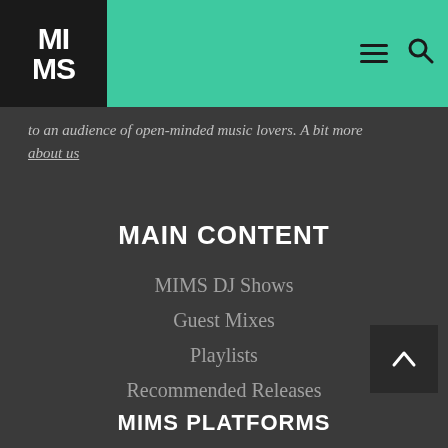MIMS
to an audience of open-minded music lovers. A bit more about us
MAIN CONTENT
MIMS DJ Shows
Guest Mixes
Playlists
Recommended Releases
Interviews
MIMS PLATFORMS